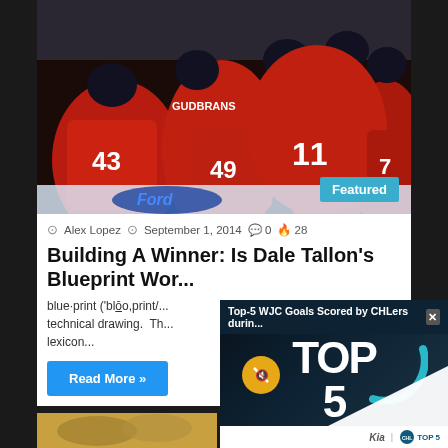[Figure (photo): Hockey players in red Florida Panthers jerseys celebrating on ice, player #11 visible in foreground, numbers 43, 49, 7 visible on other players. 'Featured' badge in bottom right corner.]
⊙ Alex Lopez  ⊙ September 1, 2014  💬 0  🔥 28
Building A Winner: Is Dale Tallon's Blueprint Wor...
blue·print ('blōo,print/... technical drawing. Th... lexicon...
Read More »
[Figure (screenshot): Video popup overlay showing 'Top-5 WJC Goals Scored by CHLers durin...' with large TOP 5 text, mute button, teal arc graphic, Kia sponsorship logo, and close button.]
[Figure (photo): Partial bottom image peek of what appears to be another sports article thumbnail.]